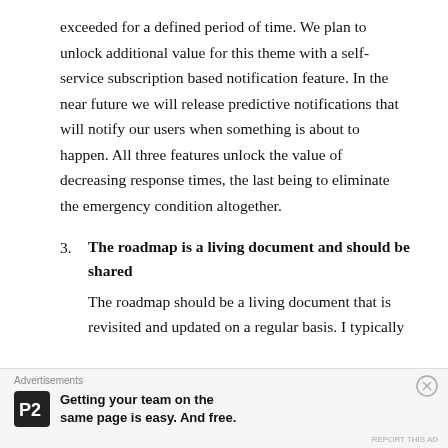exceeded for a defined period of time. We plan to unlock additional value for this theme with a self-service subscription based notification feature. In the near future we will release predictive notifications that will notify our users when something is about to happen. All three features unlock the value of decreasing response times, the last being to eliminate the emergency condition altogether.
3. The roadmap is a living document and should be shared
The roadmap should be a living document that is revisited and updated on a regular basis. I typically
Advertisements
Getting your team on the same page is easy. And free.